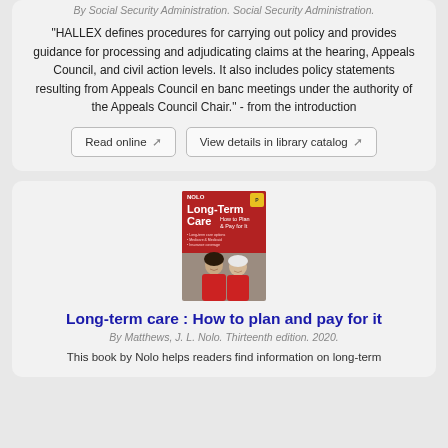By Social Security Administration. Social Security Administration.
"HALLEX defines procedures for carrying out policy and provides guidance for processing and adjudicating claims at the hearing, Appeals Council, and civil action levels. It also includes policy statements resulting from Appeals Council en banc meetings under the authority of the Appeals Council Chair." - from the introduction
Read online
View details in library catalog
[Figure (illustration): Book cover of 'Long-Term Care: How to Plan & Pay for It' by Nolo, showing two women on the cover]
Long-term care : How to plan and pay for it
By Matthews, J. L. Nolo. Thirteenth edition. 2020.
This book by Nolo helps readers find information on long-term